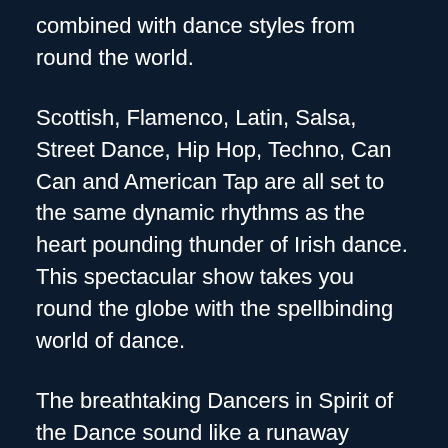combined with dance styles from round the world.
Scottish, Flamenco, Latin, Salsa, Street Dance, Hip Hop, Techno, Can Can and American Tap are all set to the same dynamic rhythms as the heart pounding thunder of Irish dance. This spectacular show takes you round the globe with the spellbinding world of dance.
The breathtaking Dancers in Spirit of the Dance sound like a runaway express train and their frenzied skill and military precision sends shivers down your spine.  Not one Irish dance shoe steps out of line as their thunderous feet perform as one, with an excitement that leaves